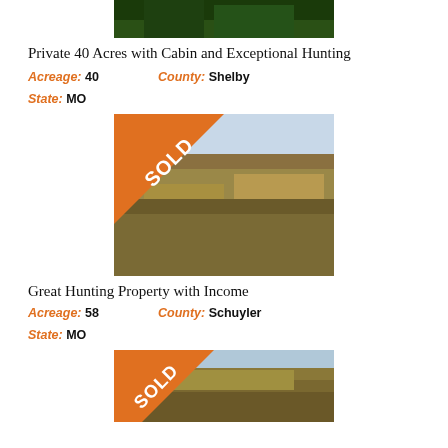[Figure (photo): Aerial view of wooded land, top portion partially visible]
Private 40 Acres with Cabin and Exceptional Hunting
Acreage: 40   County: Shelby
State: MO
[Figure (photo): Aerial photo of farmland and wooded areas with SOLD banner overlay]
Great Hunting Property with Income
Acreage: 58   County: Schuyler
State: MO
[Figure (photo): Aerial photo of rural land with SOLD banner overlay, partially visible]